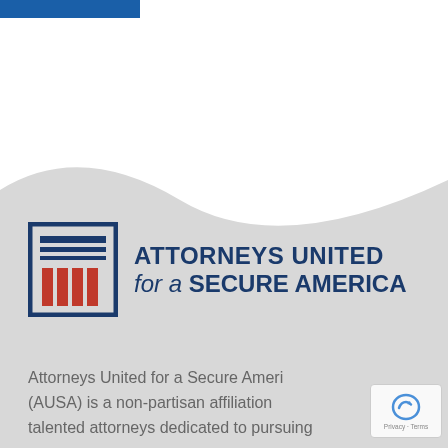[Figure (logo): Blue horizontal bar at top left of page]
[Figure (illustration): Light gray wave background shape covering lower two-thirds of page]
[Figure (logo): Attorneys United for a Secure America logo: square icon with blue border, blue horizontal lines at top, red vertical columns at bottom, next to bold blue text reading ATTORNEYS UNITED for a SECURE AMERICA]
Attorneys United for a Secure America (AUSA) is a non-partisan affiliation of talented attorneys dedicated to pursuing